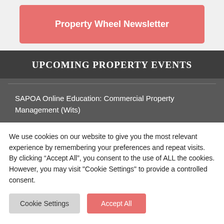[Figure (other): Red/salmon colored button labeled 'Property Wheel Newsletter']
UPCOMING PROPERTY EVENTS
SAPOA Online Education: Commercial Property Management (Wits)
We use cookies on our website to give you the most relevant experience by remembering your preferences and repeat visits. By clicking “Accept All”, you consent to the use of ALL the cookies. However, you may visit "Cookie Settings" to provide a controlled consent.
Cookie Settings | Accept All